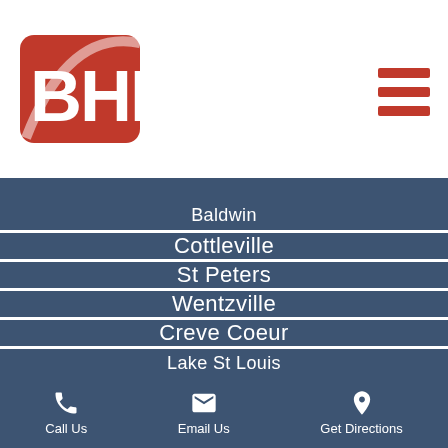[Figure (logo): BHI logo — red rounded rectangle with white BHI text and swoosh]
Baldwin
Cottleville
St Peters
Wentzville
Creve Coeur
Lake St Louis
Call Us  Email Us  Get Directions